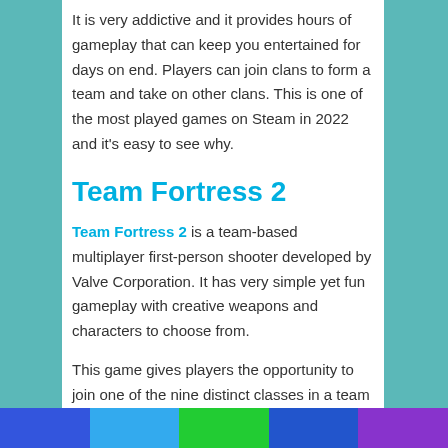It is very addictive and it provides hours of gameplay that can keep you entertained for days on end. Players can join clans to form a team and take on other clans. This is one of the most played games on Steam in 2022 and it's easy to see why.
Team Fortress 2
Team Fortress 2 is a team-based multiplayer first-person shooter developed by Valve Corporation. It has very simple yet fun gameplay with creative weapons and characters to choose from.
This game gives players the opportunity to join one of the nine distinct classes in a team deathmatch scenario. Every class has specific abilities and